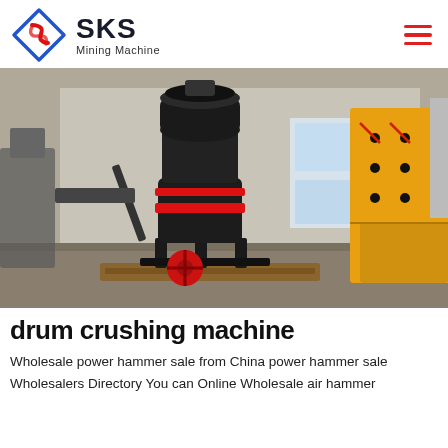[Figure (logo): SKS Mining Machine logo with diamond shape icon in blue and red, company name SKS in bold dark letters, subtitle Mining Machine]
[Figure (photo): Industrial mining machinery photo showing a large black cylindrical grinding mill machine with red accents and red wheel base on the left, and yellow metal crusher/screen equipment on the right, inside a factory/warehouse setting]
drum crushing machine
Wholesale power hammer sale from China power hammer sale Wholesalers Directory You can Online Wholesale air hammer